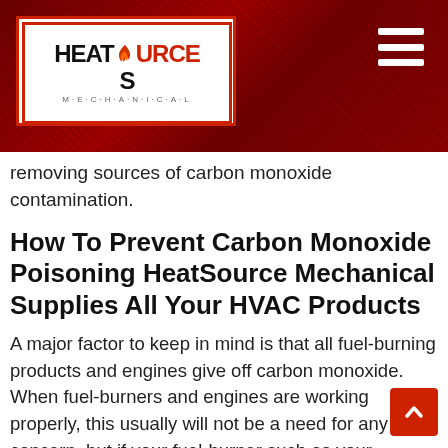[Figure (logo): HeatSource Mechanical logo on red wood-grain banner with hamburger menu icon]
removing sources of carbon monoxide contamination.
How To Prevent Carbon Monoxide Poisoning HeatSource Mechanical Supplies All Your HVAC Products
A major factor to keep in mind is that all fuel-burning products and engines give off carbon monoxide. When fuel-burners and engines are working properly, this usually will not be a need for any concern, but if your fuel-burner such as your furnace, is outdated, hasn't been replaced in over 20 years, making weird noises and smells funky, should be a sign of urgency to get checked out by a professional technician. If carbon